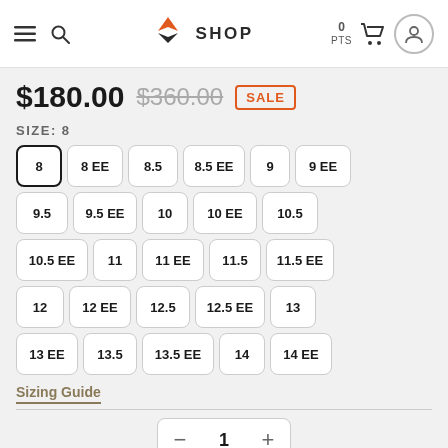SHOP — Navigation bar with hamburger menu, search, logo, cart (0 PTS), user icon
$180.00  $360.00  SALE
SIZE: 8
8 (selected), 8 EE, 8.5, 8.5 EE, 9, 9 EE
9.5, 9.5 EE, 10, 10 EE, 10.5
10.5 EE, 11, 11 EE, 11.5, 11.5 EE
12, 12 EE, 12.5, 12.5 EE, 13
13 EE, 13.5, 13.5 EE, 14, 14 EE
Sizing Guide
1